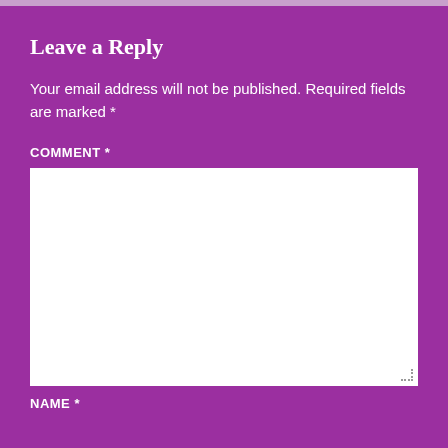Leave a Reply
Your email address will not be published. Required fields are marked *
COMMENT *
[Figure (other): Empty white comment text area input box with resize handle at bottom right]
NAME *